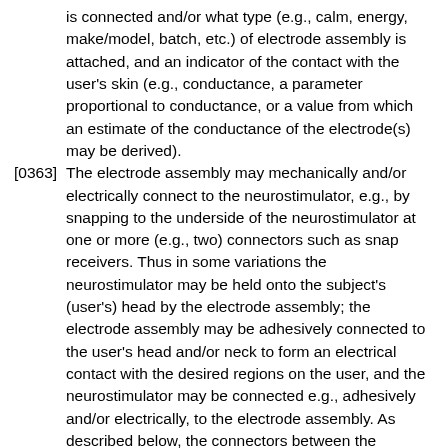is connected and/or what type (e.g., calm, energy, make/model, batch, etc.) of electrode assembly is attached, and an indicator of the contact with the user's skin (e.g., conductance, a parameter proportional to conductance, or a value from which an estimate of the conductance of the electrode(s) may be derived).
[0363] The electrode assembly may mechanically and/or electrically connect to the neurostimulator, e.g., by snapping to the underside of the neurostimulator at one or more (e.g., two) connectors such as snap receivers. Thus in some variations the neurostimulator may be held onto the subject's (user's) head by the electrode assembly; the electrode assembly may be adhesively connected to the user's head and/or neck to form an electrical contact with the desired regions on the user, and the neurostimulator may be connected e.g., adhesively and/or electrically, to the electrode assembly. As described below, the connectors between the neurostimulator and the electrode assembly may be positioned in a particular and predetermined location that allows